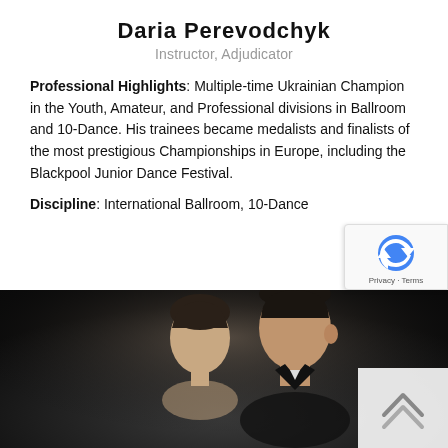Daria Perevodchyk
Instructor, Adjudicator
Professional Highlights: Multiple-time Ukrainian Champion in the Youth, Amateur, and Professional divisions in Ballroom and 10-Dance. His trainees became medalists and finalists of the most prestigious Championships in Europe, including the Blackpool Junior Dance Festival.
Discipline: International Ballroom, 10-Dance
[Figure (photo): A dance couple in close pose against a dark background, formal ballroom attire, black and white toned photograph showing heads and upper torsos.]